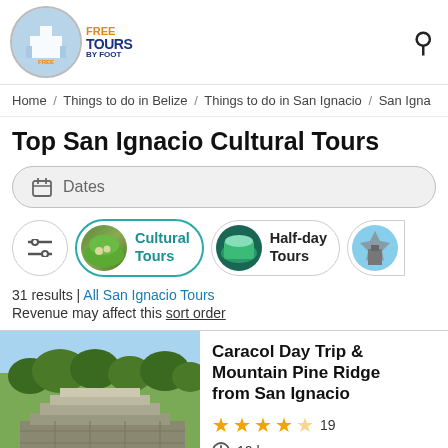[Figure (logo): Free Tours by Foot circular logo with blue background and orange/blue text]
Home / Things to do in Belize / Things to do in San Ignacio / San Igna
Top San Ignacio Cultural Tours
Dates
[Figure (infographic): Filter row with settings icon, Cultural Tours pill (active, teal border), Half-day Tours pill, and partial third pill]
31 results | All San Ignacio Tours
Revenue may affect this sort order
[Figure (photo): Photo of Caracol Maya ruins, stone structures with trees in background]
Caracol Day Trip & Mountain Pine Ridge from San Ignacio
19 reviews, 4.5 stars
10 hours